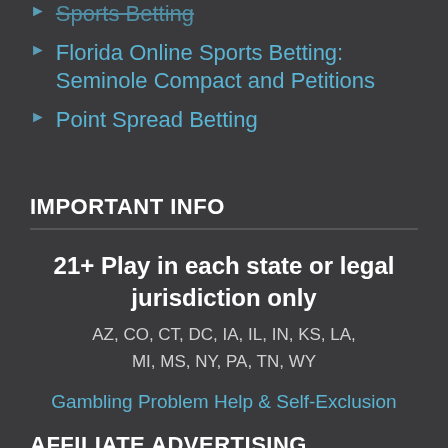Sports Betting
Florida Online Sports Betting: Seminole Compact and Petitions
Point Spread Betting
IMPORTANT INFO
21+ Play in each state or legal jurisdiction only
AZ, CO, CT, DC, IA, IL, IN, KS, LA, MI, MS, NY, PA, TN, WY
Gambling Problem Help & Self-Exclusion
AFFILIATE ADVERTISING LICENSES